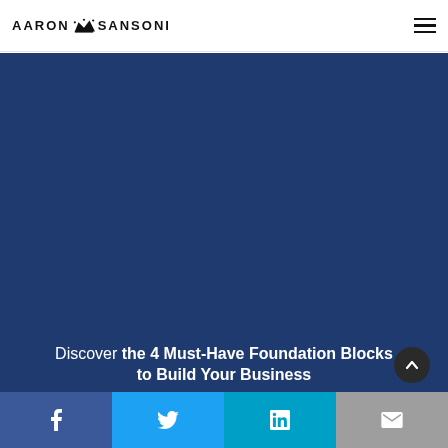AARON SANSONI
[Figure (photo): Dark blue background hero image section]
Discover the 4 Must-Have Foundation Blocks to Build Your Business
Facebook | Twitter | LinkedIn | Email